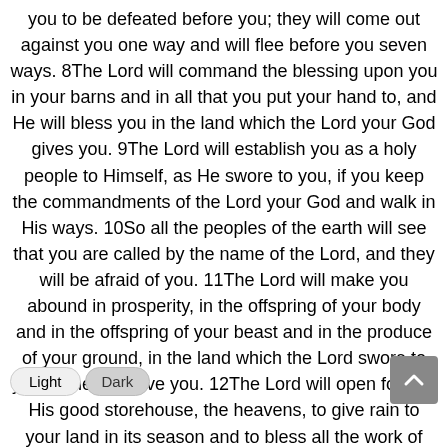you to be defeated before you; they will come out against you one way and will flee before you seven ways. 8The Lord will command the blessing upon you in your barns and in all that you put your hand to, and He will bless you in the land which the Lord your God gives you. 9The Lord will establish you as a holy people to Himself, as He swore to you, if you keep the commandments of the Lord your God and walk in His ways. 10So all the peoples of the earth will see that you are called by the name of the Lord, and they will be afraid of you. 11The Lord will make you abound in prosperity, in the offspring of your body and in the offspring of your beast and in the produce of your ground, in the land which the Lord swore to your fathers to give you. 12The Lord will open for you His good storehouse, the heavens, to give rain to your land in its season and to bless all the work of your hand; and you shall lend to many nations, but you shall not borrow. 13The Lord will make you the head and not you only will be above, and you will not be underneath, if you listen to the commandments of the